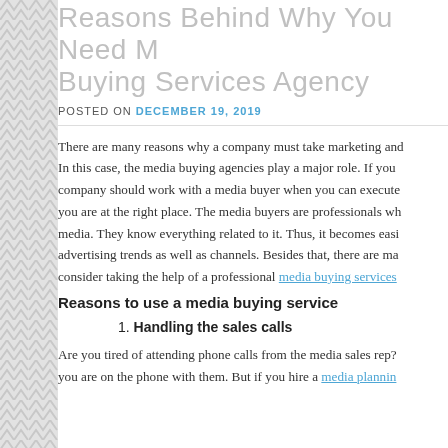Reasons Behind Why You Need Media Buying Services Agency
POSTED ON DECEMBER 19, 2019
There are many reasons why a company must take marketing and advertising seriously. In this case, the media buying agencies play a major role. If you are wondering why your company should work with a media buyer when you can execute the campaign by yourself, you are at the right place. The media buyers are professionals who know everything related to media. They know everything related to it. Thus, it becomes easier to stay updated with the advertising trends as well as channels. Besides that, there are many reasons that you should consider taking the help of a professional media buying services
Reasons to use a media buying service
1. Handling the sales calls
Are you tired of attending phone calls from the media sales rep? you are on the phone with them. But if you hire a media planning